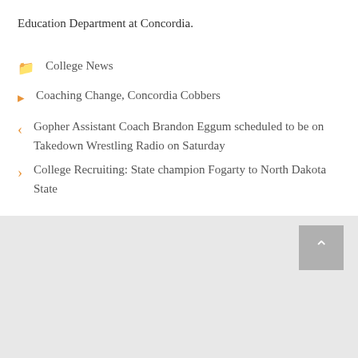Education Department at Concordia.
College News
Coaching Change, Concordia Cobbers
Gopher Assistant Coach Brandon Eggum scheduled to be on Takedown Wrestling Radio on Saturday
College Recruiting: State champion Fogarty to North Dakota State